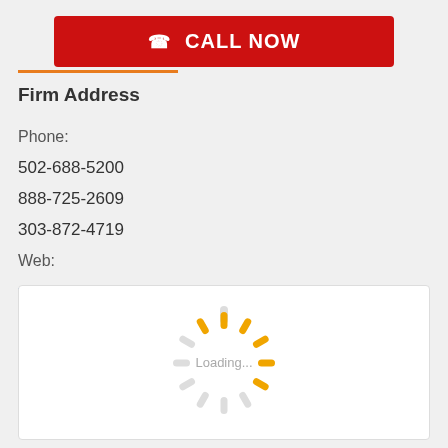[Figure (other): Red CALL NOW button with phone icon]
Firm Address
Phone:
502-688-5200
888-725-2609
303-872-4719
Web:
www.kentucky.legal
[Figure (other): Loading spinner animation with orange and gray segments and 'Loading...' text in center]